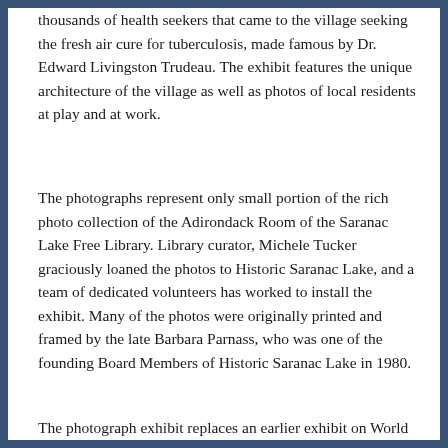thousands of health seekers that came to the village seeking the fresh air cure for tuberculosis, made famous by Dr. Edward Livingston Trudeau. The exhibit features the unique architecture of the village as well as photos of local residents at play and at work.
The photographs represent only small portion of the rich photo collection of the Adirondack Room of the Saranac Lake Free Library. Library curator, Michele Tucker graciously loaned the photos to Historic Saranac Lake, and a team of dedicated volunteers has worked to install the exhibit. Many of the photos were originally printed and framed by the late Barbara Parnass, who was one of the founding Board Members of Historic Saranac Lake in 1980.
The photograph exhibit replaces an earlier exhibit on World War I in Saranac Lake. The